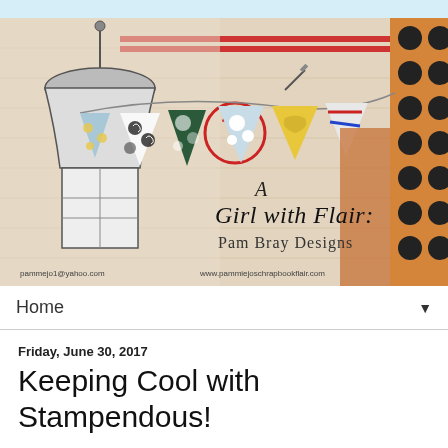[Figure (illustration): Blog header banner image for 'A Girl with Flair: Pam Bray Designs' showing decorative pennant bunting flags in various patterns (floral, polka dot, black and white swirl, striped) against a vintage collage background with a gazebo/lantern illustration. Text reads 'A Girl with Flair: Pam Bray Designs' with contact info 'pammejo1@yahoo.com' and 'www.pammiejoschrapbookflair.com']
Home
Friday, June 30, 2017
Keeping Cool with Stampendous!
[Figure (photo): Partial view of a craft/art project photo at bottom of page, showing teal/turquoise mixed media background with floral embellishments]